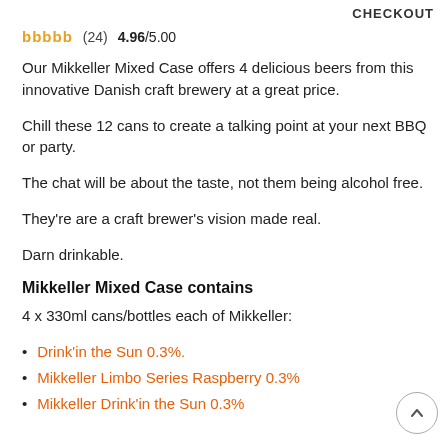CHECKOUT
bbbbb  (24)  4.96/5.00
Our Mikkeller Mixed Case offers 4 delicious beers from this innovative Danish craft brewery at a great price.
Chill these 12 cans to create a talking point at your next BBQ or party.
The chat will be about the taste, not them being alcohol free.
They're are a craft brewer's vision made real.
Darn drinkable.
Mikkeller Mixed Case contains
4 x 330ml cans/bottles each of Mikkeller:
Drink'in the Sun 0.3%.
Mikkeller Limbo Series Raspberry 0.3%
Mikkeller Drink'in the Sun 0.3%